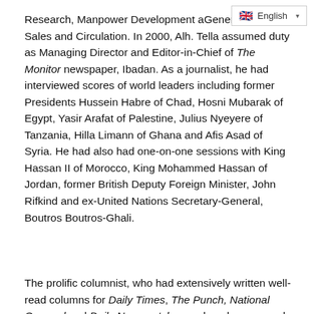Research, Manpower Development and General Manager, Sales and Circulation. In 2000, Alh. Tella assumed duty as Managing Director and Editor-in-Chief of The Monitor newspaper, Ibadan. As a journalist, he had interviewed scores of world leaders including former Presidents Hussein Habre of Chad, Hosni Mubarak of Egypt, Yasir Arafat of Palestine, Julius Nyeyere of Tanzania, Hilla Limann of Ghana and Afis Asad of Syria. He had also had one-on-one sessions with King Hassan II of Morocco, King Mohammed Hassan of Jordan, former British Deputy Foreign Minister, John Rifkind and ex-United Nations Secretary-General, Boutros Boutros-Ghali.
The prolific columnist, who had extensively written well-read columns for Daily Times, The Punch, National Concord and Daily Newswatch over decades, covered the Chadian Civil War and the Western Sahara POLISARIO-Morocco Liberation War. Known for service and humanitarianism, he had served on the United